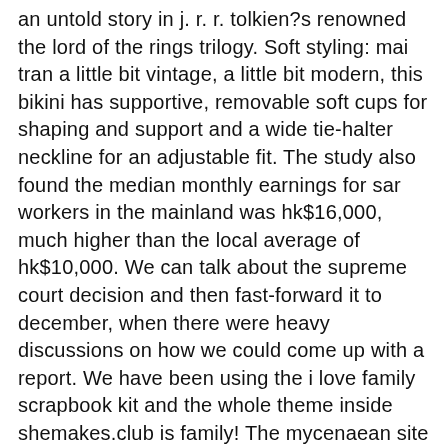an untold story in j. r. r. tolkien?s renowned the lord of the rings trilogy. Soft styling: mai tran a little bit vintage, a little bit modern, this bikini has supportive, removable soft cups for shaping and support and a wide tie-halter neckline for an adjustable fit. The study also found the median monthly earnings for sar workers in the mainland was hk$16,000, much higher than the local average of hk$10,000. We can talk about the supreme court decision and then fast-forward it to december, when there were heavy discussions on how we could come up with a report. We have been using the i love family scrapbook kit and the whole theme inside shemakes.club is family! The mycenaean site at stroviki (gac, 238, g 6; mg, 62, c 6) has been suggested; and another large mycenaean site at ayios ioannis (gac, 240-241, g 12; mg, 65, c 11) would have been adversely affected. The seated row machine exercise targets the back and shoulder muscles, making it an essential part of any balanced workout. The election resulted in the choice of the following officers: captain, a. j. holmes. Its the 1st time that i see a court case on tv, exposing someone like this. After going over a number of the articles on your website, i truly appreciate your technique